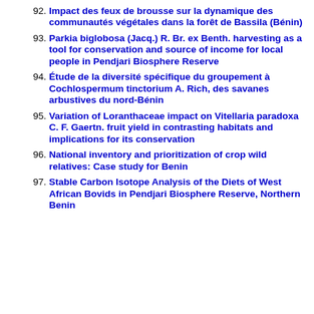92. Impact des feux de brousse sur la dynamique des communautés végétales dans la forêt de Bassila (Bénin)
93. Parkia biglobosa (Jacq.) R. Br. ex Benth. harvesting as a tool for conservation and source of income for local people in Pendjari Biosphere Reserve
94. Étude de la diversité spécifique du groupement à Cochlospermum tinctorium A. Rich, des savanes arbustives du nord-Bénin
95. Variation of Loranthaceae impact on Vitellaria paradoxa C. F. Gaertn. fruit yield in contrasting habitats and implications for its conservation
96. National inventory and prioritization of crop wild relatives: Case study for Benin
97. Stable Carbon Isotope Analysis of the Diets of West African Bovids in Pendjari Biosphere Reserve, Northern Benin